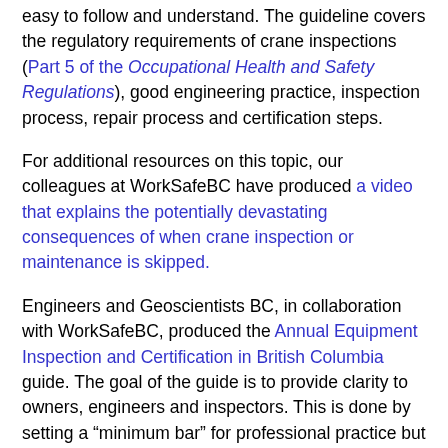easy to follow and understand. The guideline covers the regulatory requirements of crane inspections (Part 5 of the Occupational Health and Safety Regulations), good engineering practice, inspection process, repair process and certification steps.
For additional resources on this topic, our colleagues at WorkSafeBC have produced a video that explains the potentially devastating consequences of when crane inspection or maintenance is skipped.
Engineers and Geoscientists BC, in collaboration with WorkSafeBC, produced the Annual Equipment Inspection and Certification in British Columbia guide. The goal of the guide is to provide clarity to owners, engineers and inspectors. This is done by setting a “minimum bar” for professional practice but fixing the level of inspection to a level of...